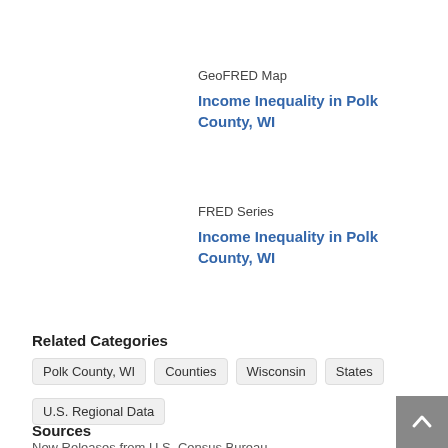GeoFRED Map
Income Inequality in Polk County, WI
FRED Series
Income Inequality in Polk County, WI
Related Categories
Polk County, WI
Counties
Wisconsin
States
U.S. Regional Data
Sources
New Releases from U.S. Census Bureau